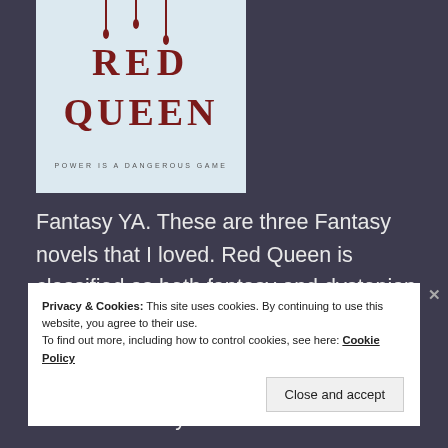[Figure (illustration): Book cover for 'Red Queen' showing the title in dark red serif letters with blood drip lines above, and the tagline 'POWER IS A DANGEROUS GAME' on a light blue-white background.]
Fantasy YA. These are three Fantasy novels that I loved. Red Queen is classified as both fantasy and dystopian, but I'm going to go with fantasy for this list. I actually don't read a ton of fantasy, so it's kind of hard to grab some that I haven't recently
Privacy & Cookies: This site uses cookies. By continuing to use this website, you agree to their use.
To find out more, including how to control cookies, see here: Cookie Policy
Close and accept